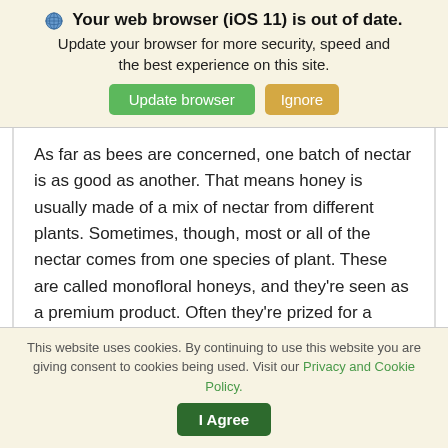🌐 Your web browser (iOS 11) is out of date. Update your browser for more security, speed and the best experience on this site. [Update browser] [Ignore]
As far as bees are concerned, one batch of nectar is as good as another. That means honey is usually made of a mix of nectar from different plants. Sometimes, though, most or all of the nectar comes from one species of plant. These are called monofloral honeys, and they're seen as a premium product. Often they're prized for a distinctive flavor – fireweed honey and Appalachian sourwood honey are two of the most
This website uses cookies. By continuing to use this website you are giving consent to cookies being used. Visit our Privacy and Cookie Policy. [I Agree]